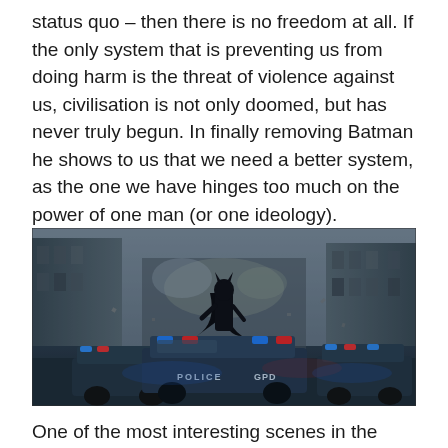status quo – then there is no freedom at all. If the only system that is preventing us from doing harm is the threat of violence against us, civilisation is not only doomed, but has never truly begun. In finally removing Batman he shows to us that we need a better system, as the one we have hinges too much on the power of one man (or one ideology).
[Figure (photo): A dark, cinematic scene showing Batman standing atop a police car surrounded by many police cars with flashing lights in a chaotic urban street. The scene appears to be from The Dark Knight Rises film.]
One of the most interesting scenes in the whole film is the